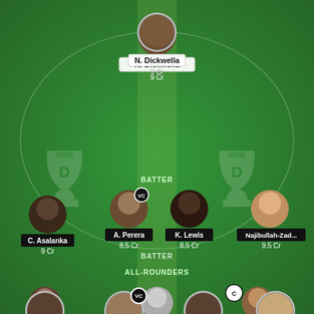[Figure (infographic): Fantasy cricket team selection screen showing a green cricket field with players arranged in their positions. Wicketkeeper N. Dickwella (9 Cr) at top, Batters section with C. Asalanka (9 Cr), A. Perera (8.5 Cr) with VC badge, K. Lewis (8.5 Cr), Najibullah-Zad... (9.5 Cr). All-Rounders section visible at bottom with partial player images. Dream11 trophy watermarks on left and right sides.]